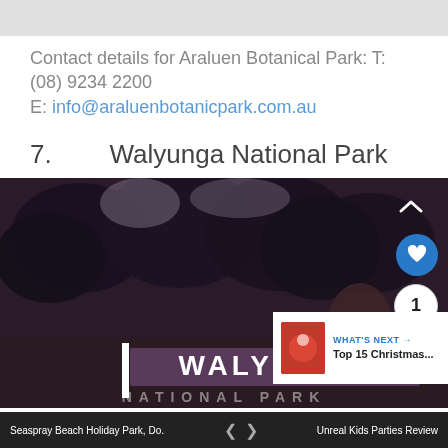Contact details for Araluen Botanical Park: T: (08) 9234 2200
E: info@araluenbotanicpark.com.au
7.        Walyunga National Park
[Figure (photo): Photo of Walyunga National Park entrance sign. Dark purple/mauve toned image showing trees in background and a white 'WALYUNGA' sign with vertical bar. UI overlay elements include a heart button, share button, count bubble showing '1', and a 'WHAT'S NEXT' card showing 'Top 15 Christmas...' in bottom right corner.]
Seaspray Beach Holiday Park, Do...    <    >    Unreal Kids Parties Review